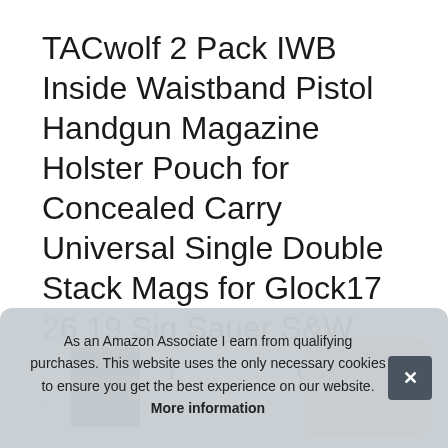TACwolf 2 Pack IWB Inside Waistband Pistol Handgun Magazine Holster Pouch for Concealed Carry Universal Single Double Stack Mags for Glock17 26 19 Sig Sauer S&W Springfield XD Ruger 9mm/.45
#ad
[Figure (photo): Row of product thumbnail images partially visible]
As an Amazon Associate I earn from qualifying purchases. This website uses the only necessary cookies to ensure you get the best experience on our website. More information